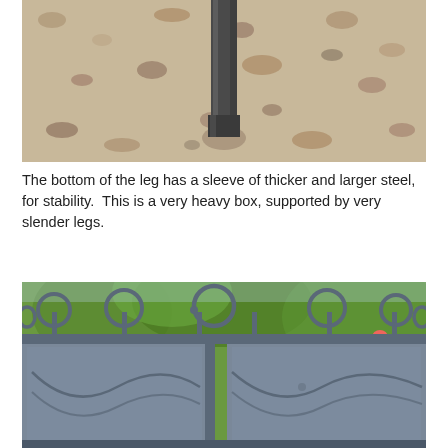[Figure (photo): Close-up photo of a metal rod/leg embedded in a sandy/gravel surface, showing a steel post going into the ground.]
The bottom of the leg has a sleeve of thicker and larger steel, for stability.  This is a very heavy box, supported by very slender legs.
[Figure (photo): Photo of a decorative wrought iron fence/gate with circular ornamental rings at the top rail and curved decorative swag patterns on blue/grey metal panels, with green trees and flowers visible in the background.]